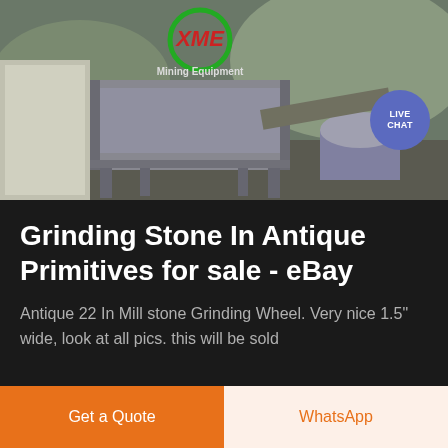[Figure (photo): Industrial mining/grinding equipment machinery photo with XME Mining Equipment logo in green and red, and a LIVE CHAT bubble in purple on the right side.]
Grinding Stone In Antique Primitives for sale - eBay
Antique 22 In Mill stone Grinding Wheel. Very nice 1.5" wide, look at all pics. this will be sold
Get a Quote
WhatsApp